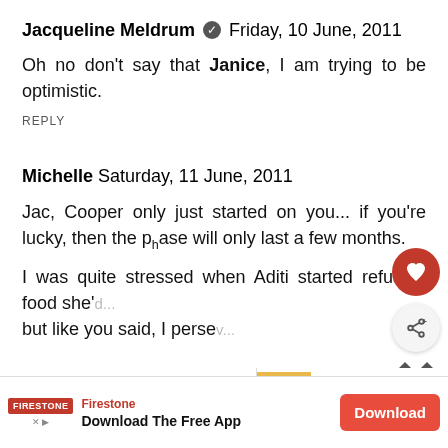Jacqueline Meldrum ✓ Friday, 10 June, 2011
Oh no don't say that Janice, I am trying to be optimistic.
REPLY
Michelle Saturday, 11 June, 2011
Jac, Cooper only just started on you... if you're lucky, then the phase will only last a few months.
I was quite stressed when Aditi started refusing food she'd... but like you said, I persevered...
[Figure (screenshot): Social media overlay with heart/like button (red circle with heart icon) and share button (circular with share icon), plus two diamond icons below]
[Figure (screenshot): What's Next thumbnail with yellow/orange food image and text: WHAT'S NEXT → Leftovers Lentil Soup]
[Figure (screenshot): Advertisement banner: Firestone logo, text 'Download The Free App', red Download button]